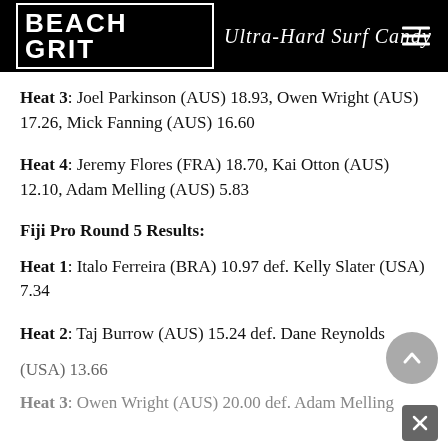BEACH GRIT Ultra-Hard Surf Candy
Heat 3: Joel Parkinson (AUS) 18.93, Owen Wright (AUS) 17.26, Mick Fanning (AUS) 16.60
Heat 4: Jeremy Flores (FRA) 18.70, Kai Otton (AUS) 12.10, Adam Melling (AUS) 5.83
Fiji Pro Round 5 Results:
Heat 1: Italo Ferreira (BRA) 10.97 def. Kelly Slater (USA) 7.34
Heat 2: Taj Burrow (AUS) 15.24 def. Dane Reynolds (USA) 13.66
Heat 3: Owen Wright (AUS) 20.00 def. Adam Melling